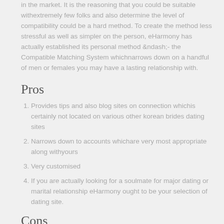in the market. It is the reasoning that you could be suitable withextremely few folks and also determine the level of compatibility could be a hard method. To create the method less stressful as well as simpler on the person, eHarmony has actually established its personal method &amp;ndash;- the Compatible Matching System whichnarrows down on a handful of men or females you may have a lasting relationship with.
Pros
Provides tips and also blog sites on connection whichis certainly not located on various other korean brides dating sites
Narrows down to accounts whichare very most appropriate along withyours
Very customised
If you are actually looking for a soulmate for major dating or marital relationship eHarmony ought to be your selection of dating site.
Cons
Doesn' t partner withsame-sex compatibility
Requires you to pay for every monthfor utilizing its own premium services